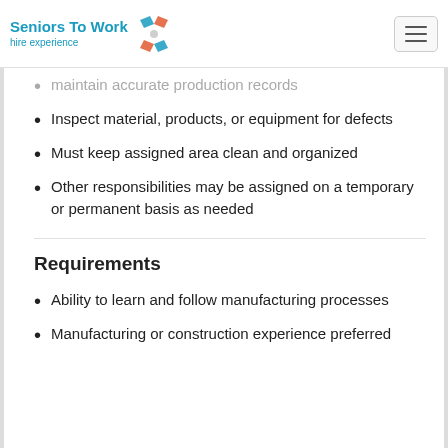Seniors To Work hire experience
maintain accurate production records
Inspect material, products, or equipment for defects
Must keep assigned area clean and organized
Other responsibilities may be assigned on a temporary or permanent basis as needed
Requirements
Ability to learn and follow manufacturing processes
Manufacturing or construction experience preferred